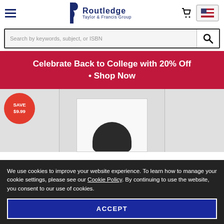Routledge Taylor & Francis Group
Search by keywords, subject, or ISBN
Celebrate Back to College with 20% Off • Shop Now
[Figure (photo): Book cover with a black hat on white background, with a red circular badge showing SAVE $9.99]
We use cookies to improve your website experience. To learn how to manage your cookie settings, please see our Cookie Policy. By continuing to use the website, you consent to our use of cookies.
ACCEPT